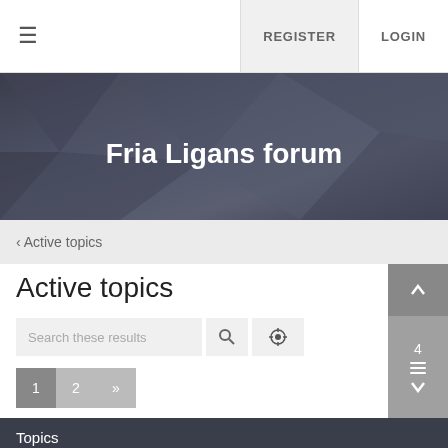≡  REGISTER  LOGIN
Fria Ligans forum
‹ Active topics
Active topics
Search these results
1  2  »
Topics
[Moved] Fria Ligan's Business Model
Last post by BytomMan, moments ago